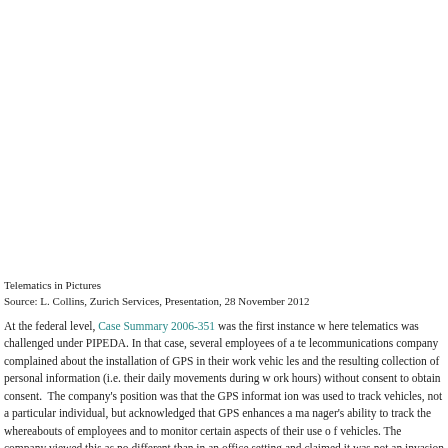Telematics in Pictures
Source: L. Collins, Zurich Services, Presentation, 28 November 2012
At the federal level, Case Summary 2006-351 was the first instance where telematics was challenged under PIPEDA. In that case, several employees of a telecommunications company complained about the installation of GPS in their work vehicles and the resulting collection of personal information (i.e. their daily movements during work hours) without consent to obtain consent. The company's position was that the GPS information was used to track vehicles, not a particular individual, but acknowledged that GPS enhances a manager's ability to track the whereabouts of employees and to monitor certain aspects of their use of vehicles. The company viewed this as no different than in an office setting and claimed it was not an invasion of privacy.